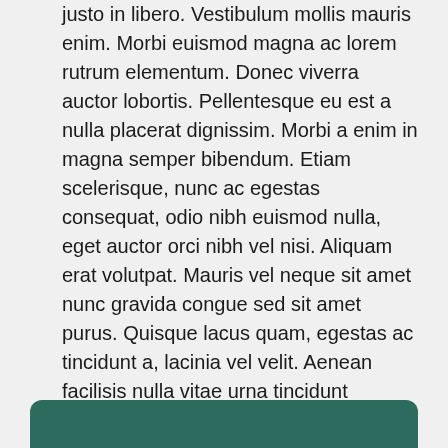justo in libero. Vestibulum mollis mauris enim. Morbi euismod magna ac lorem rutrum elementum. Donec viverra auctor lobortis. Pellentesque eu est a nulla placerat dignissim. Morbi a enim in magna semper bibendum. Etiam scelerisque, nunc ac egestas consequat, odio nibh euismod nulla, eget auctor orci nibh vel nisi. Aliquam erat volutpat. Mauris vel neque sit amet nunc gravida congue sed sit amet purus. Quisque lacus quam, egestas ac tincidunt a, lacinia vel velit. Aenean facilisis nulla vitae urna tincidunt congue sed ut dui. Morbi malesuada nulla nec purus convallis consequat. Vivamus id mollis quam. Morbi ac commodo nulla. In condimentum orci id nisl volutpat bibendum. Quisque commodo hendrerit lorem quis egestas. Maecenas quis tortor arcu. Vivamus rutrum nunc non neque consectetur quis placerat neque lobortis. Nam vestibulum, arcu sodales feugiat consectetur.
[Figure (other): Dark green rounded rectangle box at the bottom of the page]